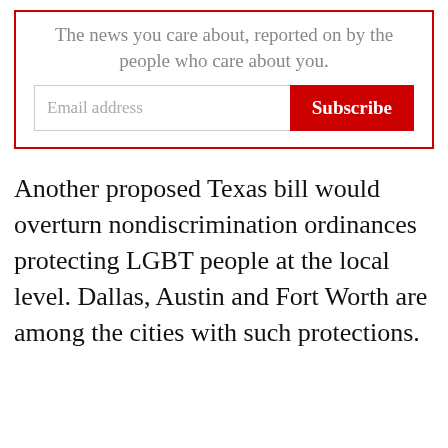The news you care about, reported on by the people who care about you.
Another proposed Texas bill would overturn nondiscrimination ordinances protecting LGBT people at the local level. Dallas, Austin and Fort Worth are among the cities with such protections.